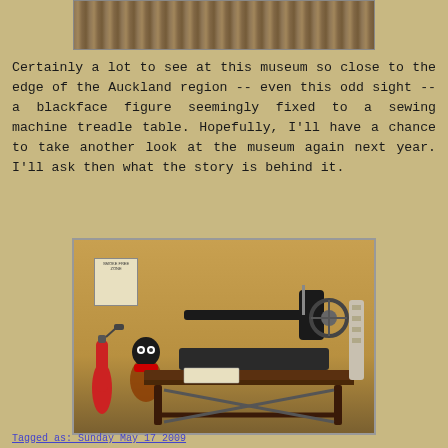[Figure (photo): Top portion of a photograph showing what appears to be dried grass or straw fibers, cropped at top of page]
Certainly a lot to see at this museum so close to the edge of the Auckland region -- even this odd sight -- a blackface figure seemingly fixed to a sewing machine treadle table. Hopefully, I'll have a chance to take another look at the museum again next year. I'll ask then what the story is behind it.
[Figure (photo): Photograph of an antique sewing machine on a treadle table, with a blackface figurine and a smoke free zone sign visible to the left side]
Tagged as: Sunday May 17 2009